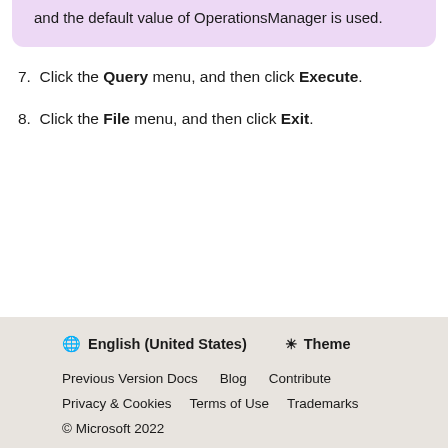and the default value of OperationsManager is used.
7. Click the Query menu, and then click Execute.
8. Click the File menu, and then click Exit.
🌐 English (United States)   ☀ Theme
Previous Version Docs   Blog   Contribute
Privacy & Cookies   Terms of Use   Trademarks
© Microsoft 2022